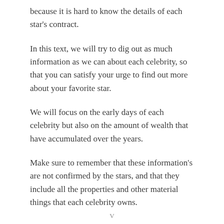because it is hard to know the details of each star's contract.
In this text, we will try to dig out as much information as we can about each celebrity, so that you can satisfy your urge to find out more about your favorite star.
We will focus on the early days of each celebrity but also on the amount of wealth that have accumulated over the years.
Make sure to remember that these information's are not confirmed by the stars, and that they include all the properties and other material things that each celebrity owns.
V